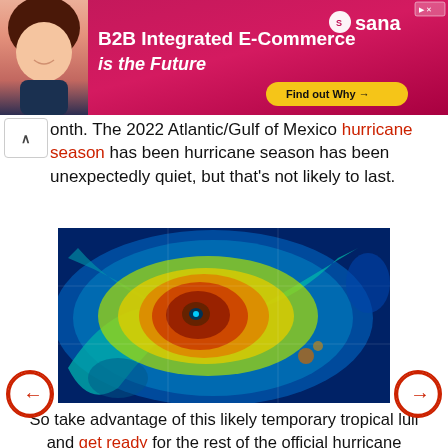[Figure (photo): Advertisement banner with pink/red gradient background. Shows a woman smiling on the left, bold white text 'B2B Integrated E-Commerce is the Future', Sana logo top right, and a yellow 'Find out Why' button.]
onth. The 2022 Atlantic/Gulf of Mexico hurricane season has been hurricane season has been unexpectedly quiet, but that's not likely to last.
[Figure (photo): Satellite infrared image of a hurricane viewed from above, showing a distinct eye at center surrounded by spiraling bands of clouds in yellow, green, blue and teal colors.]
So take advantage of this likely temporary tropical lull and get ready for the rest of the official hurricane season, which runs through the end of Meteorological Fall on Nov. 30. The countdown clock below can help you keep track of how many more days you have to